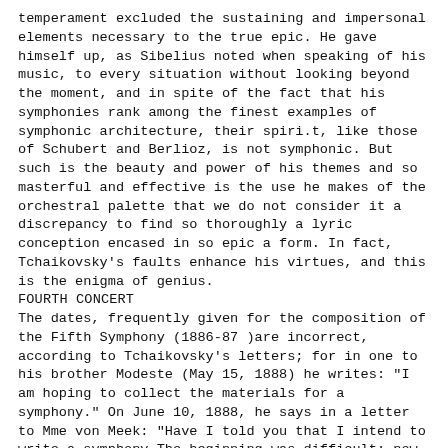temperament excluded the sustaining and impersonal elements necessary to the true epic. He gave himself up, as Sibelius noted when speaking of his music, to every situation without looking beyond the moment, and in spite of the fact that his symphonies rank among the finest examples of symphonic architecture, their spiri.t, like those of Schubert and Berlioz, is not symphonic. But such is the beauty and power of his themes and so masterful and effective is the use he makes of the orchestral palette that we do not consider it a discrepancy to find so thoroughly a lyric conception encased in so epic a form. In fact, Tchaikovsky's faults enhance his virtues, and this is the enigma of genius.
FOURTH CONCERT
The dates, frequently given for the composition of the Fifth Symphony (1886-87 )are incorrect, according to Tchaikovsky's letters; for in one to his brother Modeste (May 15, 1888) he writes: "I am hoping to collect the materials for a symphony." On June 10, 1888, he says in a letter to Mme von Meek: "Have I told you that I intend to write a symphony The beginning was difficult; now, however, inspiration seems to come. We shall see!" Again he writes (August 26, 1888), "I am so glad that I have finished my symphony (No. 5) that I can forget all physical ailments." This would seem to establish the date of its composition.